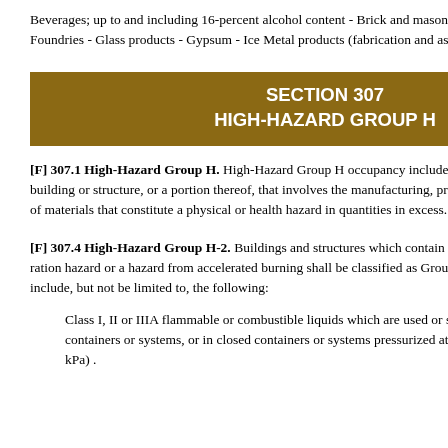Beverages; up to and including 16-percent alcohol content - Brick and masonry - Ceramic products - Foundries - Glass products - Gypsum - Ice Metal products (fabrication and assembly)
SECTION 307
HIGH-HAZARD GROUP H
[F] 307.1 High-Hazard Group H. High-Hazard Group H occupancy includes, among others, the use of a building or structure, or a portion thereof, that involves the manufacturing, processing, generation or storage of materials that constitute a physical or health hazard in quantities in excess.
[F] 307.4 High-Hazard Group H-2. Buildings and structures which contain materials that present a deflagration hazard or a hazard from accelerated burning shall be classified as Group H-2. Such materials shall include, but not be limited to, the following:
Class I, II or IIIA flammable or combustible liquids which are used or stored in normally open containers or systems, or in closed containers or systems pressurized at more than 15 psi gage (103.4 kPa).
nosing shall be the vertical adjacent nosing depth most p with t within
Exc
Sp 10
S an th
In in oc oc un ri de de m